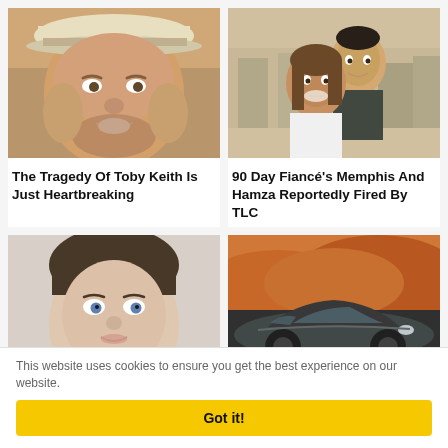[Figure (photo): Close-up photo of Toby Keith smiling, wearing a white cap]
[Figure (photo): Couple photo of Memphis and Hamza from 90 Day Fiancé smiling together]
The Tragedy Of Toby Keith Is Just Heartbreaking
90 Day Fiancé's Memphis And Hamza Reportedly Fired By TLC
[Figure (photo): Close-up portrait of a young woman]
[Figure (photo): Dark sports car with orange rocky hills in background]
This website uses cookies to ensure you get the best experience on our website.
Got it!